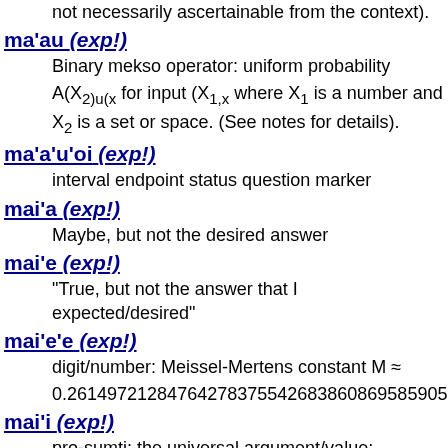not necessarily ascertainable from the context).
ma'au (exp!) — Binary mekso operator: uniform probability A(X_{2)u(x} for input (X_{1,x} where X_1 is a number and X_2 is a set or space. (See notes for details).
ma'a'u'oi (exp!) — interval endpoint status question marker
mai'a (exp!) — Maybe, but not the desired answer
mai'e (exp!) — "True, but not the answer that I expected/desired"
mai'e'e (exp!) — digit/number: Meissel-Mertens constant M ≈ 0.2614972128476427837554268386086958590516...
mai'i (exp!) — pro-sumti: the universal argument/value; syntactically, contextually and type-permitted...